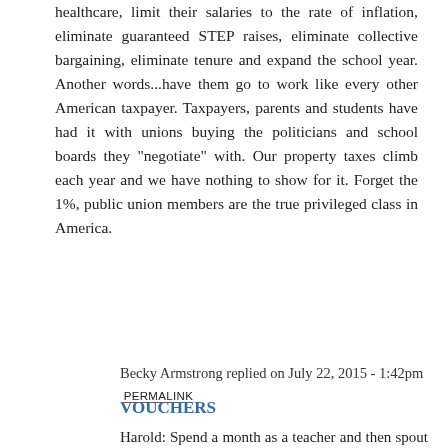healthcare, limit their salaries to the rate of inflation, eliminate guaranteed STEP raises, eliminate collective bargaining, eliminate tenure and expand the school year. Another words...have them go to work like every other American taxpayer. Taxpayers, parents and students have had it with unions buying the politicians and school boards they "negotiate" with. Our property taxes climb each year and we have nothing to show for it. Forget the 1%, public union members are the true privileged class in America.
reply
Becky Armstrong replied on July 22, 2015 - 1:42pm PERMALINK
VOUCHERS
Harold: Spend a month as a teacher and then spout off....you believe just what the anti union